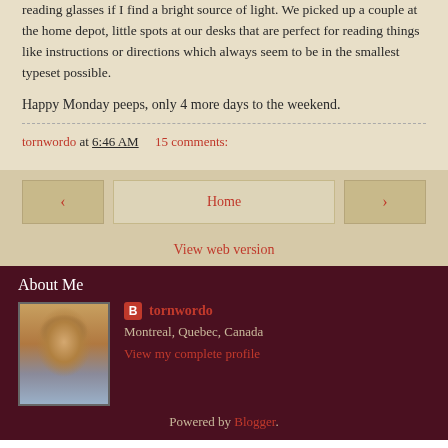reading glasses if I find a bright source of light. We picked up a couple at the home depot, little spots at our desks that are perfect for reading things like instructions or directions which always seem to be in the smallest typeset possible.
Happy Monday peeps, only 4 more days to the weekend.
tornwordo at 6:46 AM    15 comments:
[Figure (screenshot): Navigation buttons: left arrow, Home, right arrow; and View web version link]
About Me
[Figure (photo): Profile photo of a man outdoors]
tornwordo
Montreal, Quebec, Canada
View my complete profile
Powered by Blogger.